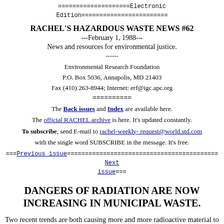====================Electronic Edition========================
RACHEL'S HAZARDOUS WASTE NEWS #62
---February 1, 1988---
News and resources for environmental justice.
------
Environmental Research Foundation
P.O. Box 5036, Annapolis, MD 21403
Fax (410) 263-8944; Internet: erf@igc.apc.org
==========
The Back issues and Index are available here.
The official RACHEL archive is here. It's updated constantly.
To subscribe, send E-mail to rachel-weekly-request@world.std.com
with the single word SUBSCRIBE in the message. It's free.
===Previous issue==========================================Next issue===
DANGERS OF RADIATION ARE NOW INCREASING IN MUNICIPAL WASTE.
Two recent trends are both causing more and more radioactive material to flow into municipal landfills. In late 1987 the federal Nuclear Regulatory Commission (NRC) re-classified large amounts of "low level" radioactive waste as "below regulatory